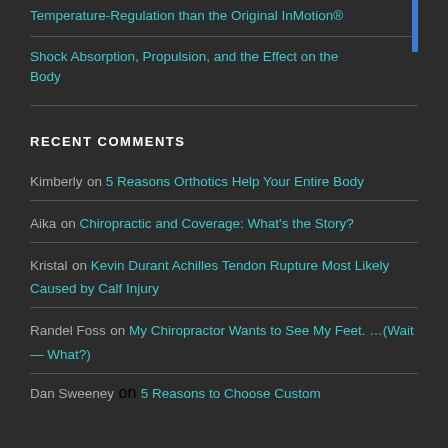Temperature-Regulation than the Original InMotion®
Shock Absorption, Propulsion, and the Effect on the Body
RECENT COMMENTS
Kimberly on 5 Reasons Orthotics Help Your Entire Body
Aika on Chiropractic and Coverage: What's the Story?
Kristal on Kevin Durant Achilles Tendon Rupture Most Likely Caused by Calf Injury
Randel Foss on My Chiropractor Wants to See My Feet. …(Wait — What?)
Dan Sweeney on 5 Reasons to Choose Custom